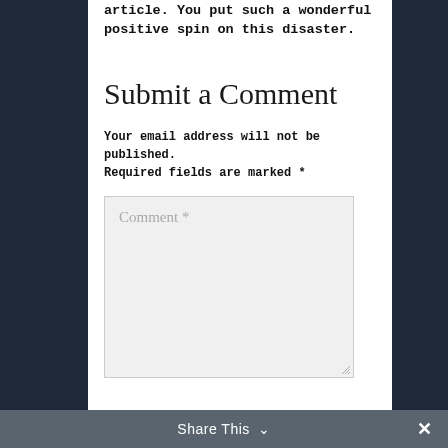article. You put such a wonderful positive spin on this disaster.
Submit a Comment
Your email address will not be published. Required fields are marked *
Comment *
Share This ∨  ✕